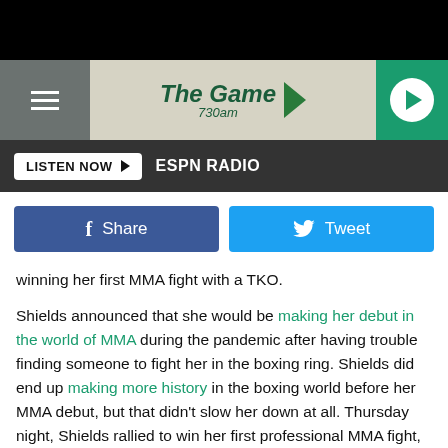[Figure (screenshot): Black top bar, ESPN Radio header with The Game 730am logo, hamburger menu, play button, Listen Now button, ESPN Radio label, Facebook Share and Tweet buttons]
winning her first MMA fight with a TKO.
Shields announced that she would be making her debut in the world of MMA during the pandemic after having trouble finding someone to fight her in the boxing ring. Shields did end up making more history in the boxing world before her MMA debut, but that didn't slow her down at all. Thursday night, Shields rallied to win her first professional MMA fight, adding to her record breaking list of accomplishments.